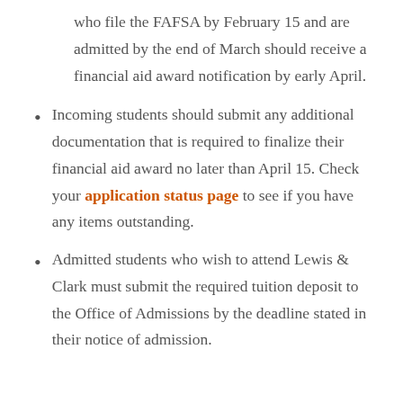who file the FAFSA by February 15 and are admitted by the end of March should receive a financial aid award notification by early April.
Incoming students should submit any additional documentation that is required to finalize their financial aid award no later than April 15. Check your application status page to see if you have any items outstanding.
Admitted students who wish to attend Lewis & Clark must submit the required tuition deposit to the Office of Admissions by the deadline stated in their notice of admission.